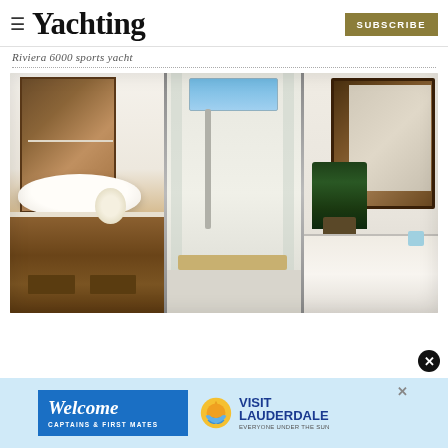≡ Yachting | SUBSCRIBE
Riviera 6000 sports yacht
[Figure (photo): Interior bathroom of Riviera 6000 sports yacht showing vanity with vessel sink on left panel, glass-enclosed shower in center panel, and bathtub area with large mirror and plant on right panel]
[Figure (photo): Advertisement banner: Welcome Captains & First Mates - Visit Lauderdale, Everyone Under The Sun]